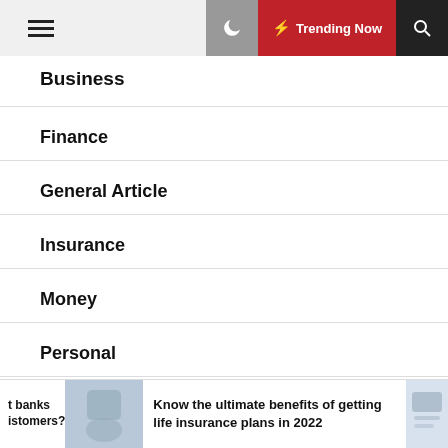Trending Now
Business
Finance
General Article
Insurance
Money
Personal
August 2022
Know the ultimate benefits of getting life insurance plans in 2022
t banks istomers?